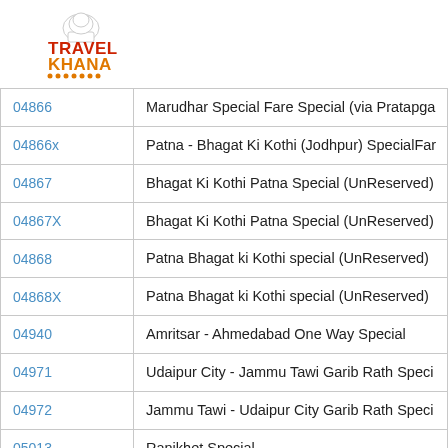[Figure (logo): TravelKhana logo with chef hat icon, TRAVEL in red and KHANA in orange text, with orange dots underline]
| Code | Name |
| --- | --- |
| 04866 | Marudhar Special Fare Special (via Pratapga |
| 04866x | Patna - Bhagat Ki Kothi (Jodhpur) SpecialFar |
| 04867 | Bhagat Ki Kothi Patna Special (UnReserved) |
| 04867X | Bhagat Ki Kothi Patna Special (UnReserved) |
| 04868 | Patna Bhagat ki Kothi special (UnReserved) |
| 04868X | Patna Bhagat ki Kothi special (UnReserved) |
| 04940 | Amritsar - Ahmedabad One Way Special |
| 04971 | Udaipur City - Jammu Tawi Garib Rath Speci |
| 04972 | Jammu Tawi - Udaipur City Garib Rath Speci |
| 05013 | Ranikhet Special |